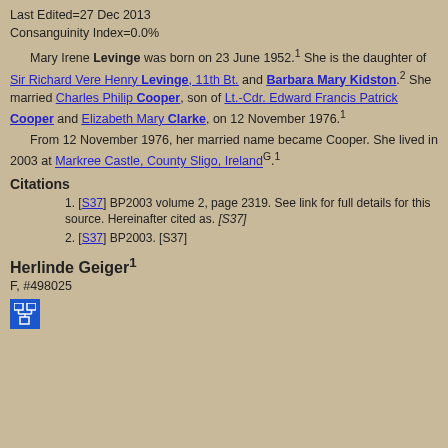Last Edited=27 Dec 2013
Consanguinity Index=0.0%
Mary Irene Levinge was born on 23 June 1952.1 She is the daughter of Sir Richard Vere Henry Levinge, 11th Bt. and Barbara Mary Kidston.2 She married Charles Philip Cooper, son of Lt.-Cdr. Edward Francis Patrick Cooper and Elizabeth Mary Clarke, on 12 November 1976.1
From 12 November 1976, her married name became Cooper. She lived in 2003 at Markree Castle, County Sligo, IrelandG.1
Citations
[S37] BP2003 volume 2, page 2319. See link for full details for this source. Hereinafter cited as. [S37]
[S37] BP2003. [S37]
Herlinde Geiger1
F, #498025